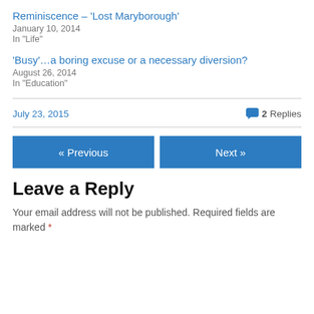Reminiscence – 'Lost Maryborough'
January 10, 2014
In "Life"
'Busy'…a boring excuse or a necessary diversion?
August 26, 2014
In "Education"
July 23, 2015
2 Replies
« Previous
Next »
Leave a Reply
Your email address will not be published. Required fields are marked *